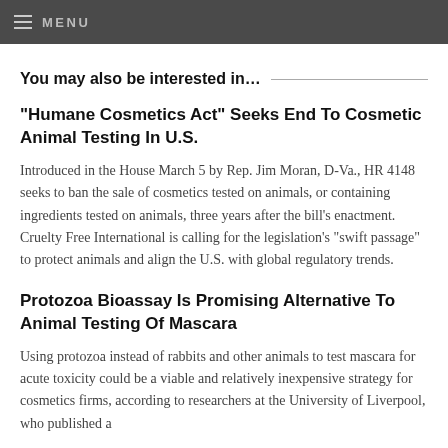MENU
You may also be interested in...
“Humane Cosmetics Act” Seeks End To Cosmetic Animal Testing In U.S.
Introduced in the House March 5 by Rep. Jim Moran, D-Va., HR 4148 seeks to ban the sale of cosmetics tested on animals, or containing ingredients tested on animals, three years after the bill’s enactment. Cruelty Free International is calling for the legislation’s “swift passage” to protect animals and align the U.S. with global regulatory trends.
Protozoa Bioassay Is Promising Alternative To Animal Testing Of Mascara
Using protozoa instead of rabbits and other animals to test mascara for acute toxicity could be a viable and relatively inexpensive strategy for cosmetics firms, according to researchers at the University of Liverpool, who published a